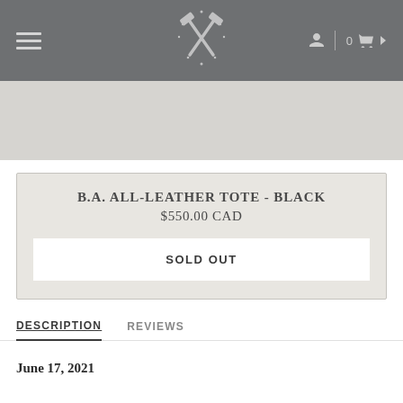Navigation bar with hamburger menu, logo, and cart (0 items)
[Figure (screenshot): Light grey hero/banner area below navigation bar]
B.A. ALL-LEATHER TOTE - BLACK
$550.00 CAD
SOLD OUT
DESCRIPTION   REVIEWS
June 17, 2021